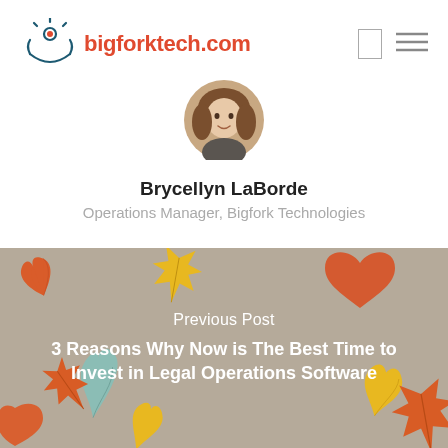[Figure (logo): Bigfork Tech logo with sun/fork icon in teal and red, and the text bigforktech.com in red]
[Figure (photo): Circular profile photo of Brycellyn LaBorde, a woman with brown hair]
Brycellyn LaBorde
Operations Manager, Bigfork Technologies
[Figure (illustration): Autumn leaf pattern background in orange, yellow, teal, and brown on a tan/grey background]
Previous Post
3 Reasons Why Now is The Best Time to Invest in Legal Operations Software